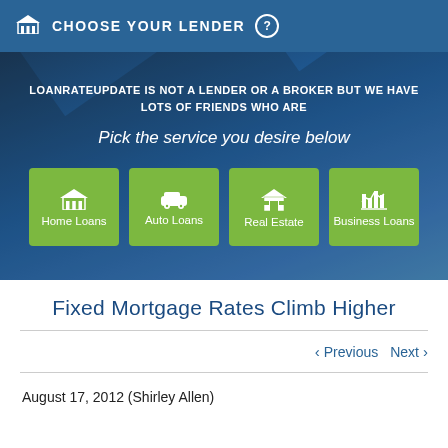CHOOSE YOUR LENDER
LOANRATEUPDATE IS NOT A LENDER OR A BROKER BUT WE HAVE LOTS OF FRIENDS WHO ARE
Pick the service you desire below
[Figure (screenshot): Four green service buttons: Home Loans, Auto Loans, Real Estate, Business Loans]
Fixed Mortgage Rates Climb Higher
Previous  Next
August 17, 2012 (Shirley Allen)